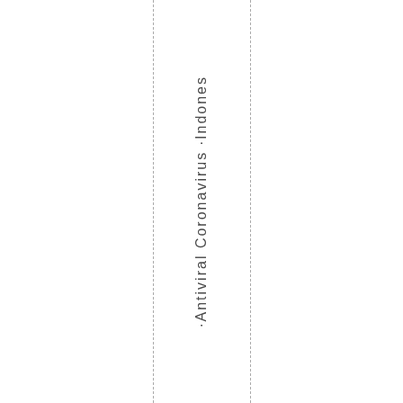·Antiviral Coronavirus ·Indonesia